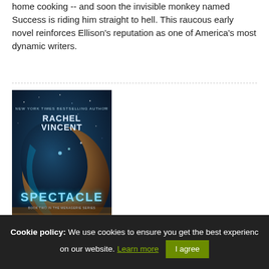home cooking -- and soon the invisible monkey named Success is riding him straight to hell. This raucous early novel reinforces Ellison's reputation as one of America's most dynamic writers.
[Figure (illustration): Book cover of 'Spectacle' by Rachel Vincent. Dark blue/teal background with a large crescent-shaped metallic object and the title 'SPECTACLE' in glowing white letters. Subtitle 'Book Two in the Menagerie Series'. Author name 'RACHEL VINCENT' at top.]
Spectacle
Sented by Musa
Cookie policy: We use cookies to ensure you get the best experience on our website. Learn more  I agree